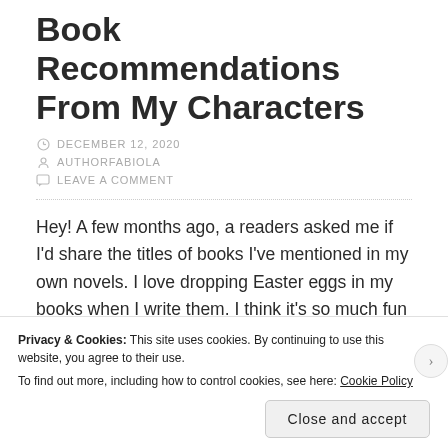Book Recommendations From My Characters
DECEMBER 12, 2020
AUTHORFABIOLA
LEAVE A COMMENT
Hey! A few months ago, a readers asked me if I'd share the titles of books I've mentioned in my own novels. I love dropping Easter eggs in my books when I write them. I think it's so much fun to mention characters from my author pals' books
Privacy & Cookies: This site uses cookies. By continuing to use this website, you agree to their use.
To find out more, including how to control cookies, see here: Cookie Policy
Close and accept